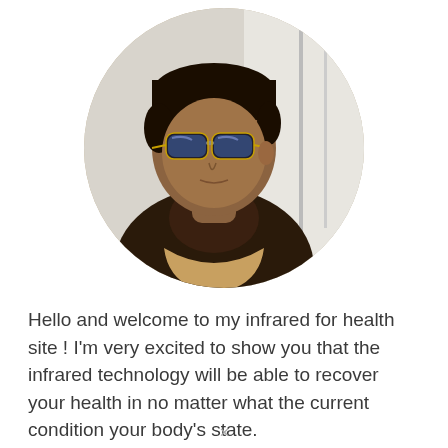[Figure (photo): Circular cropped profile photo of a person wearing sunglasses and a dark turtleneck jacket, photographed outdoors with a light background.]
Hello and welcome to my infrared for health site ! I'm very excited to show you that the infrared technology will be able to recover your health in no matter what the current condition your body's state.